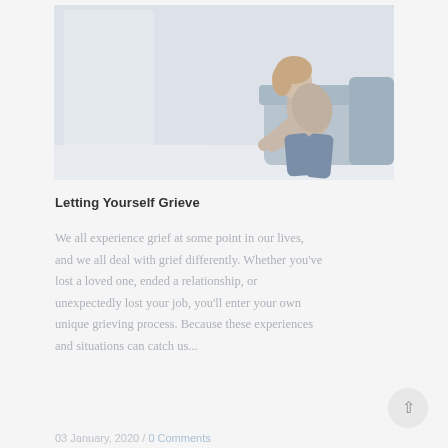[Figure (photo): A woman sitting on a couch leaning forward with hands clasped, appearing sad or distressed, in a bright, minimalist room setting.]
Letting Yourself Grieve
We all experience grief at some point in our lives, and we all deal with grief differently. Whether you've lost a loved one, ended a relationship, or unexpectedly lost your job, you'll enter your own unique grieving process. Because these experiences and situations can catch us...
03 January, 2020 / 0 Comments